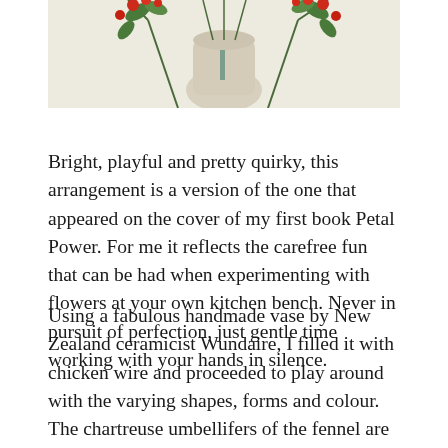[Figure (photo): Partial view of a floral arrangement in a handmade ceramic vase with red berries/flowers and green leaves on a light background]
Bright, playful and pretty quirky, this arrangement is a version of the one that appeared on the cover of my first book Petal Power. For me it reflects the carefree fun that can be had when experimenting with flowers at your own kitchen bench. Never in pursuit of perfection, just gentle time working with your hands in silence.
Using a fabulous handmade vase by New Zealand ceramicist Wundaire, I filled it with chicken wire and proceeded to play around with the varying shapes, forms and colour. The chartreuse umbellifers of the fennel are wacky and provide fabulous support lower